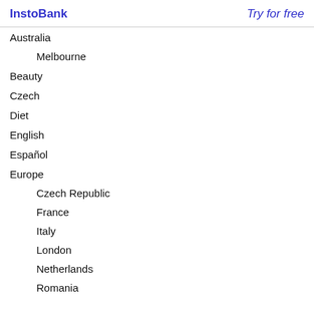InstoBank   Try for free
Australia
Melbourne
Beauty
Czech
Diet
English
Español
Europe
Czech Republic
France
Italy
London
Netherlands
Romania